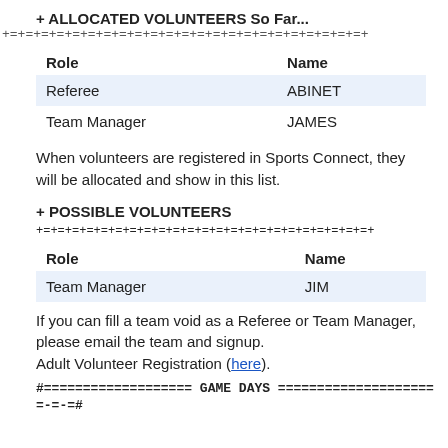+ ALLOCATED VOLUNTEERS So Far...
+=+=+=+=+=+=+=+=+=+=+=+=+=+=+=+=+=+=+=+=+=+=+=+
| Role | Name |
| --- | --- |
| Referee | ABINET |
| Team Manager | JAMES |
When volunteers are registered in Sports Connect, they will be allocated and show in this list.
+ POSSIBLE VOLUNTEERS +=+=+=+=+=+=+=+=+=+=+=+=+=+=+=+=+=+=+=+=+=+=+=+
| Role | Name |
| --- | --- |
| Team Manager | JIM |
If you can fill a team void as a Referee or Team Manager, please email the team and signup.
Adult Volunteer Registration (here).
#=================== GAME DAYS ====================
=-=#